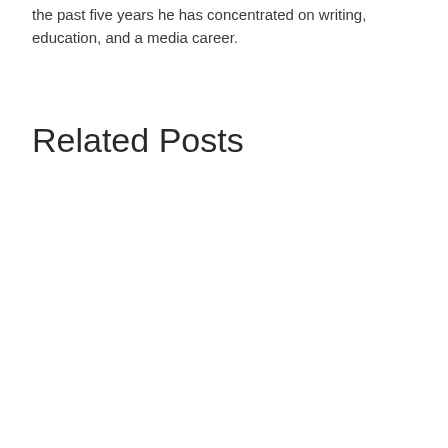the past five years he has concentrated on writing, education, and a media career.
Related Posts